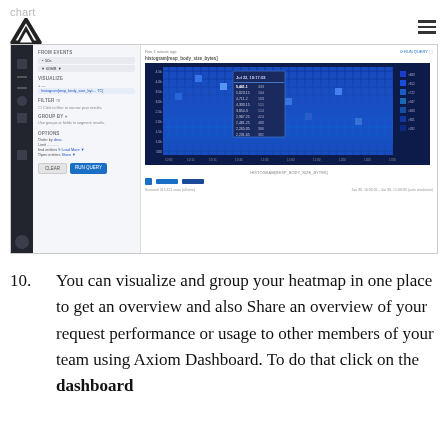chart
[Figure (screenshot): Screenshot of Axiom dashboard showing a heatmap chart interface with a left sidebar navigation, a query/filter panel, and a main heatmap visualization panel titled 'histogram[resp_body_size_bytes]' with a blue gradient heatmap grid, a tooltip overlay showing values at Jul 22, 10:17:03 including 5,441.1 and other numeric values, a legend on the right with color scale, and bottom legend dots with filter info showing 'Scanned 315,321 rows (all time)' and date range 'Jan 30, 16:00:01 - Jan 30, 11:00:00 (auto resolution)']
You can visualize and group your heatmap in one place to get an overview and also Share an overview of your request performance or usage to other members of your team using Axiom Dashboard. To do that click on the dashboard